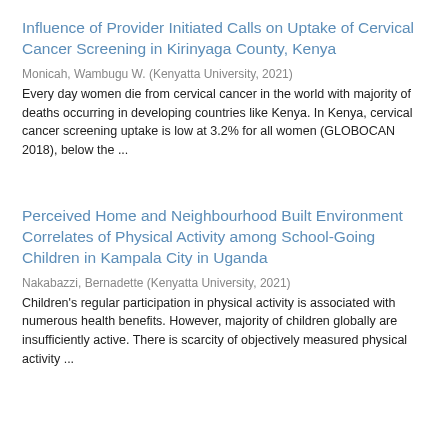Influence of Provider Initiated Calls on Uptake of Cervical Cancer Screening in Kirinyaga County, Kenya
Monicah, Wambugu W. (Kenyatta University, 2021)
Every day women die from cervical cancer in the world with majority of deaths occurring in developing countries like Kenya. In Kenya, cervical cancer screening uptake is low at 3.2% for all women (GLOBOCAN 2018), below the ...
Perceived Home and Neighbourhood Built Environment Correlates of Physical Activity among School-Going Children in Kampala City in Uganda
Nakabazzi, Bernadette (Kenyatta University, 2021)
Children's regular participation in physical activity is associated with numerous health benefits. However, majority of children globally are insufficiently active. There is scarcity of objectively measured physical activity ...